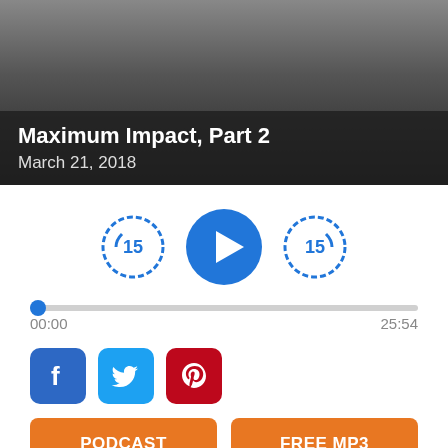[Figure (photo): Hero image of a person with dark overlay showing podcast title and date]
Maximum Impact, Part 2
March 21, 2018
[Figure (other): Audio player controls: rewind 15s button, play button, forward 15s button, progress bar showing 00:00 / 25:54]
[Figure (other): Social share buttons: Facebook, Twitter, Pinterest]
PODCAST
FREE MP3
. As believers, we should seek to influence our world for Christ and leave a lasting impression. Skip explains how we can do that as he unpacks some time transcending